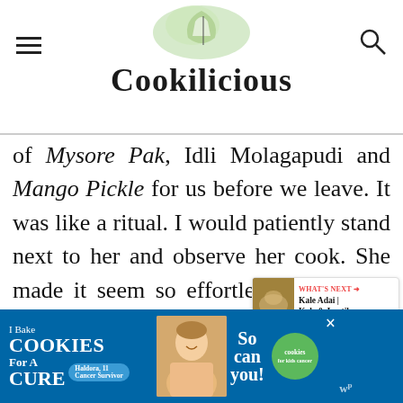Cookilicious
of Mysore Pak, Idli Molagapudi and Mango Pickle for us before we leave. It was like a ritual. I would patiently stand next to her and observe her cook. She made it seem so effortless. I miss her and her food today. She truly was the best cook and as a family we all enjoyed her lavish meal spread every time we visited her. You know, even today, I do not like the taste of store-bought pickles as it just doesn't
[Figure (infographic): Advertisement banner: I Bake COOKIES For A CURE with So can you cookies for kids cancer badge, and close buttons]